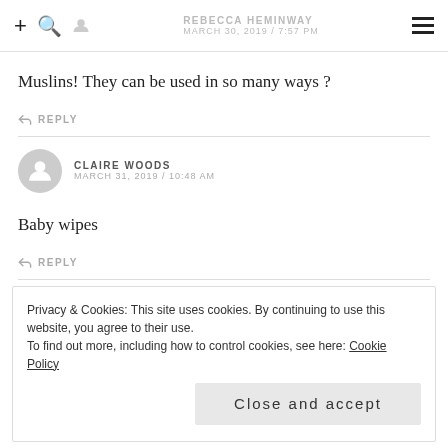REBECCA HEMINWAY MARCH 30, 2019 / 7:57 PM
Muslins! They can be used in so many ways ?
REPLY
CLAIRE WOODS MARCH 31, 2019 / 10:48 AM
Baby wipes
REPLY
Privacy & Cookies: This site uses cookies. By continuing to use this website, you agree to their use.
To find out more, including how to control cookies, see here: Cookie Policy
Close and accept
REPLY